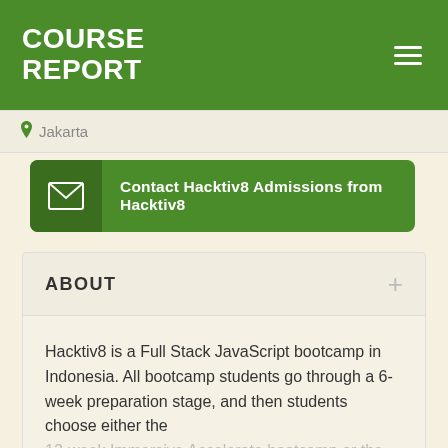COURSE REPORT
Jakarta
Contact Hacktiv8 Admissions from Hacktiv8
ABOUT
Hacktiv8 is a Full Stack JavaScript bootcamp in Indonesia. All bootcamp students go through a 6-week preparation stage, and then students choose either the 12-week Immersive Accelerate bootcamp or the 24-
READ MORE